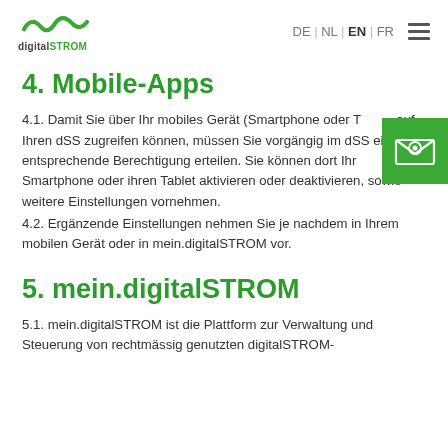digitalSTROM | DE | NL | EN | FR
4. Mobile-Apps
4.1. Damit Sie über Ihr mobiles Gerät (Smartphone oder Tablet) auf Ihren dSS zugreifen können, müssen Sie vorgängig im dSS eine entsprechende Berechtigung erteilen. Sie können dort Ihr Smartphone oder ihren Tablet aktivieren oder deaktivieren, sowie weitere Einstellungen vornehmen.
4.2. Ergänzende Einstellungen nehmen Sie je nachdem in Ihrem mobilen Gerät oder in mein.digitalSTROM vor.
5. mein.digitalSTROM
5.1. mein.digitalSTROM ist die Plattform zur Verwaltung und Steuerung von rechtmässig genutzten digitalSTROM-